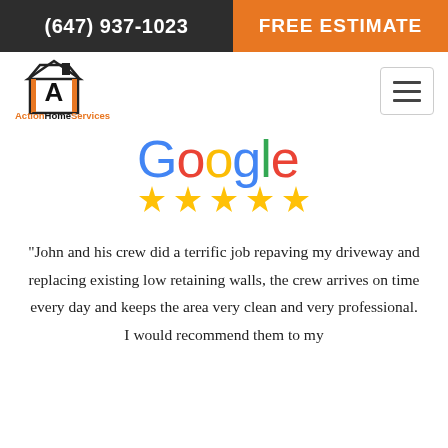(647) 937-1023   FREE ESTIMATE
[Figure (logo): Action Home Services logo — house outline with 'A' letterform and orange/black text]
[Figure (logo): Google logo with star rating (5 stars in gold)]
"John and his crew did a terrific job repaving my driveway and replacing existing low retaining walls, the crew arrives on time every day and keeps the area very clean and very professional. I would recommend them to my